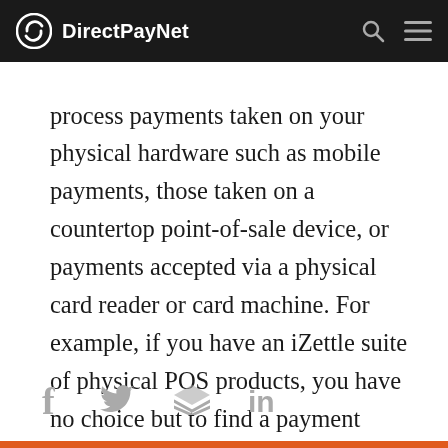DirectPayNet
process payments taken on your physical hardware such as mobile payments, those taken on a countertop point-of-sale device, or payments accepted via a physical card reader or card machine. For example, if you have an iZettle suite of physical POS products, you have no choice but to find a payment processor who can seamlessly integrate with the hardware and associated software.